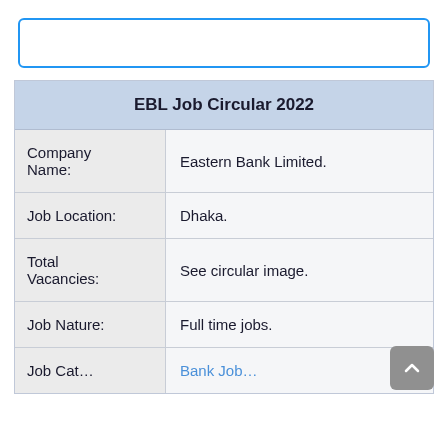[Figure (screenshot): Search input box with blue border]
| EBL Job Circular 2022 |
| --- |
| Company Name: | Eastern Bank Limited. |
| Job Location: | Dhaka. |
| Total Vacancies: | See circular image. |
| Job Nature: | Full time jobs. |
| Job Cat... | Bank Job... |